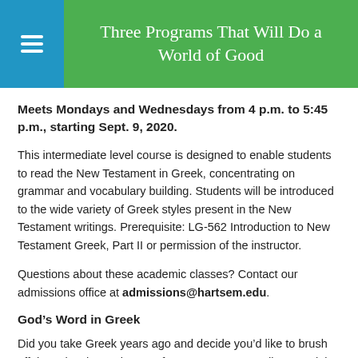Three Programs That Will Do a World of Good
Meets Mondays and Wednesdays from 4 p.m. to 5:45 p.m., starting Sept. 9, 2020.
This intermediate level course is designed to enable students to read the New Testament in Greek, concentrating on grammar and vocabulary building. Students will be introduced to the wide variety of Greek styles present in the New Testament writings. Prerequisite: LG-562 Introduction to New Testament Greek, Part II or permission of the instructor.
Questions about these academic classes? Contact our admissions office at admissions@hartsem.edu.
God’s Word in Greek
Did you take Greek years ago and decide you’d like to brush off the cobwebs? Join one of our two groups reading Greek in non-credit,